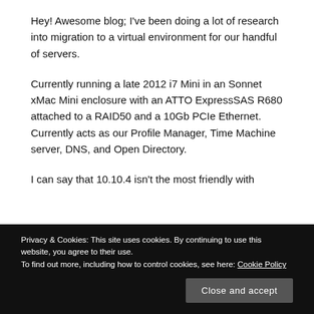Hey! Awesome blog; I've been doing a lot of research into migration to a virtual environment for our handful of servers.
Currently running a late 2012 i7 Mini in an Sonnet xMac Mini enclosure with an ATTO ExpressSAS R680 attached to a RAID50 and a 10Gb PCIe Ethernet. Currently acts as our Profile Manager, Time Machine server, DNS, and Open Directory.
I can say that 10.10.4 isn't the most friendly with
Privacy & Cookies: This site uses cookies. By continuing to use this website, you agree to their use. To find out more, including how to control cookies, see here: Cookie Policy
Close and accept